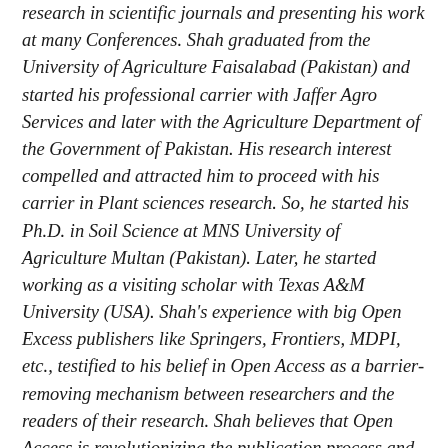research in scientific journals and presenting his work at many Conferences. Shah graduated from the University of Agriculture Faisalabad (Pakistan) and started his professional carrier with Jaffer Agro Services and later with the Agriculture Department of the Government of Pakistan. His research interest compelled and attracted him to proceed with his carrier in Plant sciences research. So, he started his Ph.D. in Soil Science at MNS University of Agriculture Multan (Pakistan). Later, he started working as a visiting scholar with Texas A&M University (USA). Shah's experience with big Open Excess publishers like Springers, Frontiers, MDPI, etc., testified to his belief in Open Access as a barrier-removing mechanism between researchers and the readers of their research. Shah believes that Open Access is revolutionizing the publication process and benefitting research in all fields.